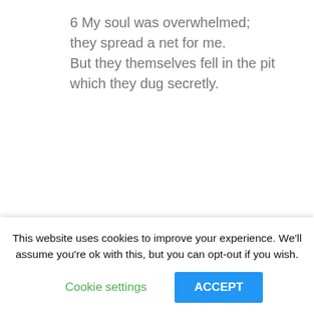6 My soul was overwhelmed;
they spread a net for me.
But they themselves fell in the pit
which they dug secretly.
7 My heart is steadfast, Lord;
with music I will sing.
8 Awake, my soul! Wake, harp and lyre!
My song the dawn will bring.
9 Among the nations, Lord,
to you I will give praise
This website uses cookies to improve your experience. We'll assume you're ok with this, but you can opt-out if you wish.
Cookie settings
ACCEPT